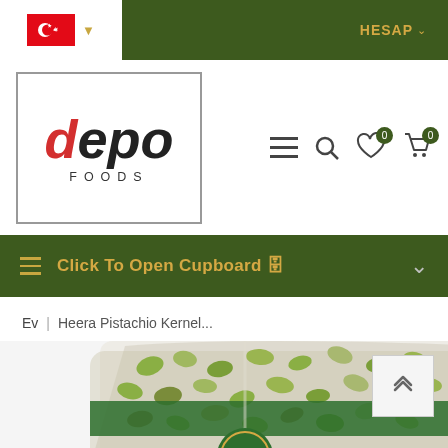HESAP (Turkish flag, dropdown)
[Figure (logo): Depo Foods logo in bordered box, with red 'd' in italic bold text]
[Figure (infographic): Navigation icons: hamburger menu, search, wishlist with 0 badge, cart with 0 badge]
Click To Open Cupboard 🗄
Ev | Heera Pistachio Kernel...
[Figure (photo): Clear plastic bag of Heera pistachio kernels (shelled pistachios) with green Heera brand label visible at bottom]